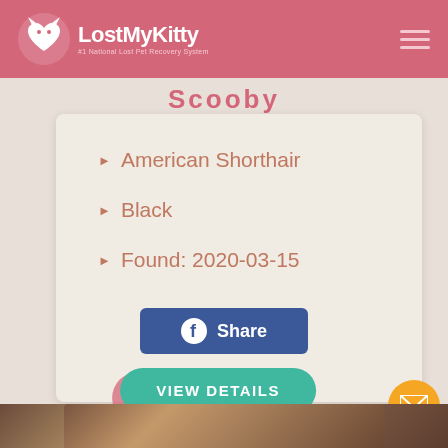LostMyKitty — #1 National Lost Pet Recovery System
Scooby
American Shorthair
Black
Found: 2020-03-15
[Figure (other): Facebook Share button]
[Figure (other): VIEW DETAILS button in teal with pink shadow]
[Figure (other): Orange email FAB button at bottom right]
[Figure (photo): Partial photo strip at bottom of page]